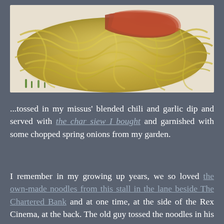[Figure (photo): Close-up photo of noodles (wanton or egg noodles) topped with char siew (roasted pork), garnished with chopped spring onions, on a white plate with a light reddish sauce.]
...tossed in my missus' blended chili and garlic dip and served with the char siew I bought and garnished with some chopped spring onions from my garden.
I remember in my growing up years, we so loved the own-made noodles from this stall in the lane beside The Chartered Bank and at one time, at the side of the Rex Cinema, at the back. The old guy tossed the noodles in his own